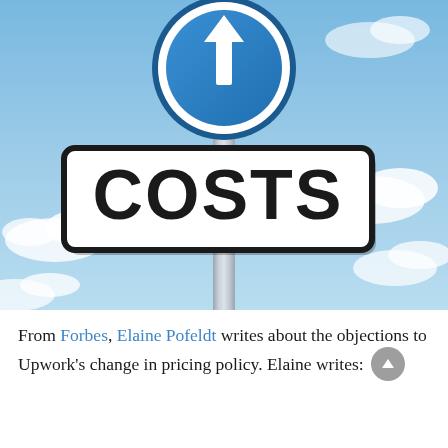[Figure (illustration): A street sign reading 'COSTS' in bold black letters on a white rectangular sign with rounded corners, mounted on a metal pole against a blue sky background. Above the costs sign is a blue circular directional sign with a white upward arrow.]
From Forbes, Elaine Pofeldt writes about the objections to Upwork's change in pricing policy.  Elaine writes: